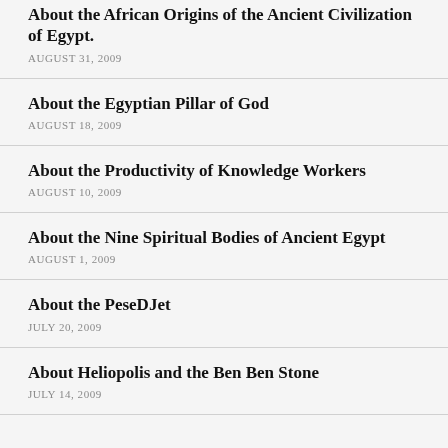About the African Origins of the Ancient Civilization of Egypt.
AUGUST 31, 2009
About the Egyptian Pillar of God
AUGUST 18, 2009
About the Productivity of Knowledge Workers
AUGUST 10, 2009
About the Nine Spiritual Bodies of Ancient Egypt
AUGUST 1, 2009
About the PeseDJet
JULY 20, 2009
About Heliopolis and the Ben Ben Stone
JULY 14, 2009